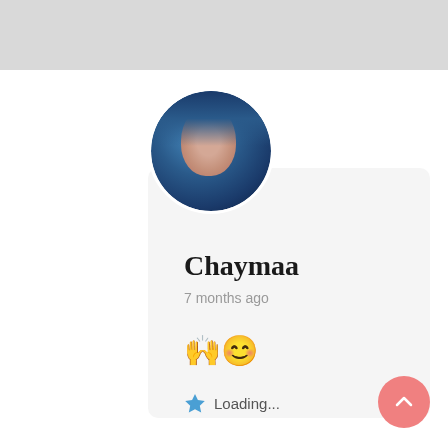[Figure (photo): Top gray banner bar at the top of the page]
[Figure (photo): Circular avatar photo of a person wearing blue hijab/headscarf, dark background]
Chaymaa
7 months ago
🙌😊
⭐ Loading...